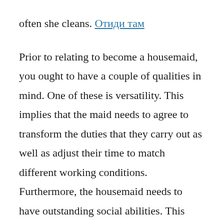often she cleans. Отиди там
Prior to relating to become a housemaid, you ought to have a couple of qualities in mind. One of these is versatility. This implies that the maid needs to agree to transform the duties that they carry out as well as adjust their time to match different working conditions. Furthermore, the housemaid needs to have outstanding social abilities. This suggests recognizing when to ask